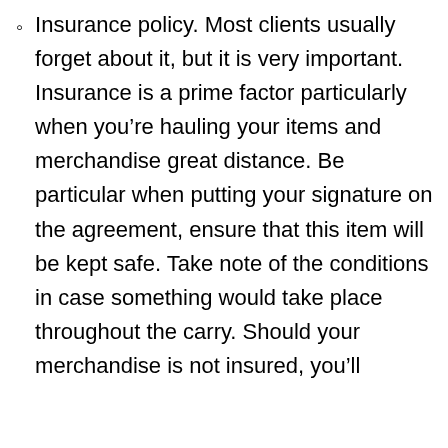Insurance policy. Most clients usually forget about it, but it is very important. Insurance is a prime factor particularly when you're hauling your items and merchandise great distance. Be particular when putting your signature on the agreement, ensure that this item will be kept safe. Take note of the conditions in case something would take place throughout the carry. Should your merchandise is not insured, you'll